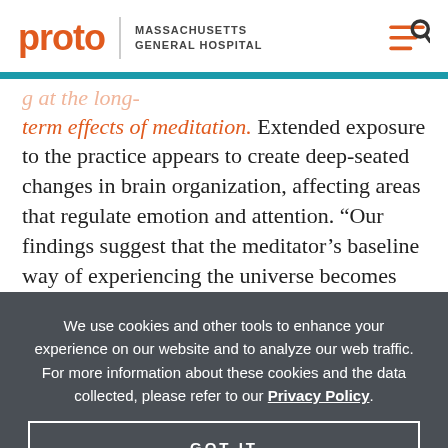proto | MASSACHUSETTS GENERAL HOSPITAL
g at the long-term effects of meditation. Extended exposure to the practice appears to create deep-seated changes in brain organization, affecting areas that regulate emotion and attention. “Our findings suggest that the meditator’s baseline way of experiencing the universe becomes
We use cookies and other tools to enhance your experience on our website and to analyze our web traffic. For more information about these cookies and the data collected, please refer to our Privacy Policy.
GOT IT